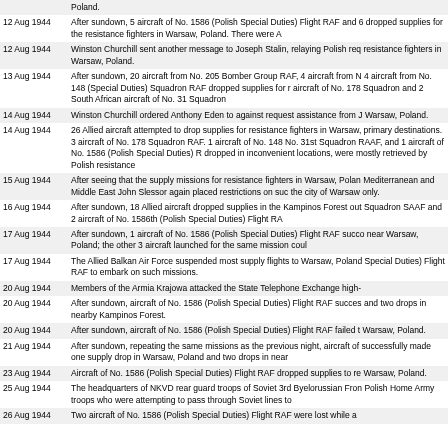Poland.
12 Aug 1944 After sundown, 5 aircraft of No. 1586 (Polish Special Duties) Flight RAF and 6 dropped supplies for the resistance fighters in Warsaw, Poland. There were A
12 Aug 1944 Winston Churchill sent another message to Joseph Stalin, relaying Polish req resistance fighters in Warsaw, Poland.
13 Aug 1944 After sundown, 20 aircraft from No. 205 Bomber Group RAF, 4 aircraft from N 4 aircraft from No. 148 (Special Duties) Squadron RAF dropped supplies for r aircraft of No. 178 Squadron and 2 South African aircraft of No. 31 Squadron
14 Aug 1944 Winston Churchill ordered Anthony Eden to against request assistance from J Warsaw, Poland.
14 Aug 1944 26 Allied aircraft attempted to drop supplies for resistance fighters in Warsaw, primary destinations. 3 aircraft of No. 178 Squadron RAF. 1 aircraft of No. 148 No. 31st Squadron RAAF, and 1 aircraft of No. 1586 (Polish Special Duties) R dropped in inconvenient locations, were mostly retrieved by Polish resistance
15 Aug 1944 After seeing that the supply missions for resistance fighters in Warsaw, Polan Mediterranean and Middle East John Slessor again placed restrictions on suc the city of Warsaw only.
16 Aug 1944 After sundown, 18 Allied aircraft dropped supplies in the Kampinos Forest out Squadron SAAF and 2 aircraft of No. 1586th (Polish Special Duties) Flight RA
17 Aug 1944 After sundown, 1 aircraft of No. 1586 (Polish Special Duties) Flight RAF succo near Warsaw, Poland; the other 3 aircraft launched for the same mission coul
17 Aug 1944 The Allied Balkan Air Force suspended most supply flights to Warsaw, Poland Special Duties) Flight RAF to embark on such missions.
20 Aug 1944 Members of the Armia Krajowa attacked the State Telephone Exchange high-
20 Aug 1944 After sundown, aircraft of No. 1586 (Polish Special Duties) Flight RAF succes and two drops in nearby Kampinos Forest.
20 Aug 1944 After sundown, aircraft of No. 1586 (Polish Special Duties) Flight RAF failed t Warsaw, Poland.
21 Aug 1944 After sundown, repeating the same missions as the previous night, aircraft of successfully made one supply drop in Warsaw, Poland and two drops in near
23 Aug 1944 Aircraft of No. 1586 (Polish Special Duties) Flight RAF dropped supplies to re Warsaw, Poland.
25 Aug 1944 The headquarters of NKVD rear guard troops of Soviet 3rd Byelorussian Fron Polish Home Army troops who were attempting to pass through Soviet lines to
26 Aug 1944 Two aircraft of No. 1586 (Polish Special Duties) Flight RAF were lost while a